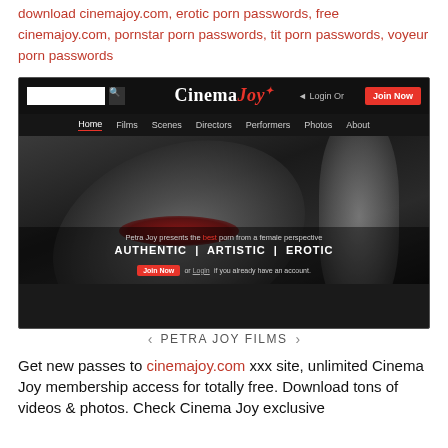download cinemajoy.com, erotic porn passwords, free cinemajoy.com, pornstar porn passwords, tit porn passwords, voyeur porn passwords
[Figure (screenshot): Screenshot of CinemaJoy website showing navigation bar with search box, logo 'CinemaJoy', Login and Join Now buttons, menu items (Home, Films, Scenes, Directors, Performers, Photos, About), a blurred hero image, tagline 'Petra Joy presents the best porn from a female perspective', words 'AUTHENTIC | ARTISTIC | EROTIC', and a Join Now button. Below the screenshot is a caption 'PETRA JOY FILMS' with navigation arrows.]
Get new passes to cinemajoy.com xxx site, unlimited Cinema Joy membership access for totally free. Download tons of videos & photos. Check Cinema Joy exclusive